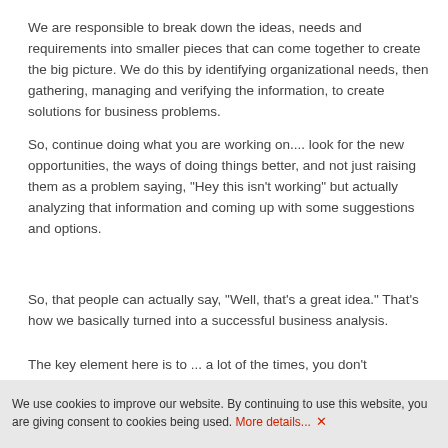We are responsible to break down the ideas, needs and requirements into smaller pieces that can come together to create the big picture. We do this by identifying organizational needs, then gathering, managing and verifying the information, to create solutions for business problems.
So, continue doing what you are working on.... look for the new opportunities, the ways of doing things better, and not just raising them as a problem saying, "Hey this isn't working" but actually analyzing that information and coming up with some suggestions and options.
So, that people can actually say, "Well, that's a great idea." That's how we basically turned into a successful business analysis.
The key element here is to ... a lot of the times, you don't necessarily study and become a business analyst.  Find the opportunities of the inefficiencies, the process gains, and those things that are real problems in organizations because I can guarantee you, managers love those types of discussions. . So as a business analyst, that's ultimately what you're trying to do.
In the wo... From the start of the project to the end, business analysts play critical role in
We use cookies to improve our website. By continuing to use this website, you are giving consent to cookies being used. More details... ✕